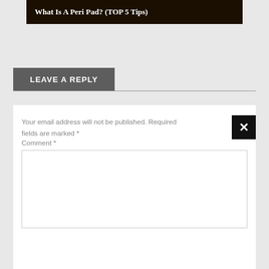What Is A Peri Pad? (TOP 5 Tips)
LEAVE A REPLY
Your email address will not be published. Required fields are marked *
Comment *
[Figure (screenshot): Close/dismiss button with white X on black background]